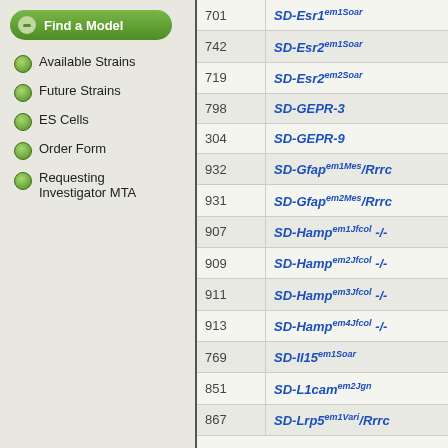Find a Model
Available Strains
Future Strains
ES Cells
Order Form
Requesting Investigator MTA
| ID | Strain Name |
| --- | --- |
| 701 | SD-Esr1em1Soar |
| 742 | SD-Esr2em1Soar |
| 719 | SD-Esr2em2Soar |
| 798 | SD-GEPR-3 |
| 304 | SD-GEPR-9 |
| 932 | SD-Gfapem1Mes/Rrrc |
| 931 | SD-Gfapem2Mes/Rrrc |
| 907 | SD-Hampem1Jfcol -/- |
| 909 | SD-Hampem2Jfcol -/- |
| 911 | SD-Hampem3Jfcol -/- |
| 913 | SD-Hampem4Jfcol -/- |
| 769 | SD-Il15em1Soar |
| 851 | SD-L1camem2Jgn |
| 867 | SD-Lrp5em1Vari/Rrrc |